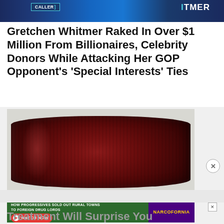[Figure (photo): Top banner showing Daily Caller logo and Whitmer campaign imagery with blue background]
Gretchen Whitmer Raked In Over $1 Million From Billionaires, Celebrity Donors While Attacking Her GOP Opponent's 'Special Interests' Ties
[Figure (photo): Photo of cranberry sauce log slid out of a can, showing ridged cylindrical shape on a light background]
[Figure (other): Advertisement: HOW PROGRESSIVES SOLD OUT RURAL TOWNS TO FOREIGN DRUG LORDS — NARCOFORNIA — WATCH NOW button]
Treatment Will Surprise You